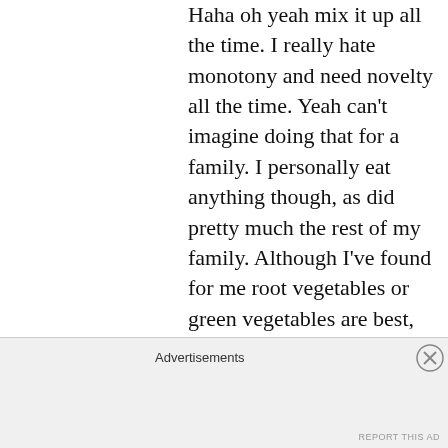Haha oh yeah mix it up all the time. I really hate monotony and need novelty all the time. Yeah can't imagine doing that for a family. I personally eat anything though, as did pretty much the rest of my family. Although I've found for me root vegetables or green vegetables are best, and avoid having too many acidic ones like lettuce, tomato. I get my
Advertisements